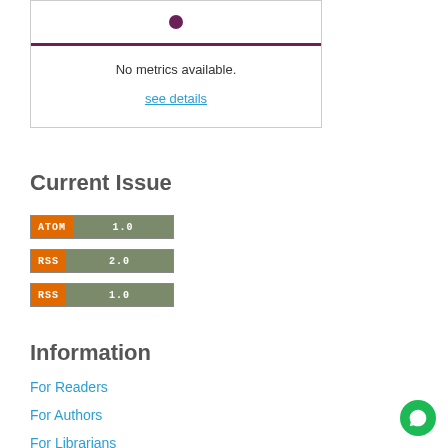[Figure (other): Metrics widget box with purple bottom border, showing a small purple circle icon at top]
No metrics available.
see details
Current Issue
[Figure (other): ATOM 1.0 feed badge - orange label with gray version]
[Figure (other): RSS 2.0 feed badge - orange label with gray version]
[Figure (other): RSS 1.0 feed badge - orange label with gray version]
Information
For Readers
For Authors
For Librarians